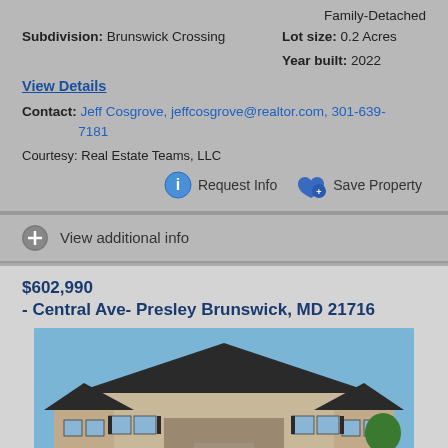Family-Detached
Subdivision: Brunswick Crossing
Lot size: 0.2 Acres
Year built: 2022
View Details
Contact: Jeff Cosgrove, jeffcosgrove@realtor.com, 301-639-7181
Courtesy: Real Estate Teams, LLC
Request Info
Save Property
View additional info
$602,990
- Central Ave- Presley Brunswick, MD 21716
[Figure (photo): Front exterior photo of a two-story brick and siding house with dark roof and multiple windows]